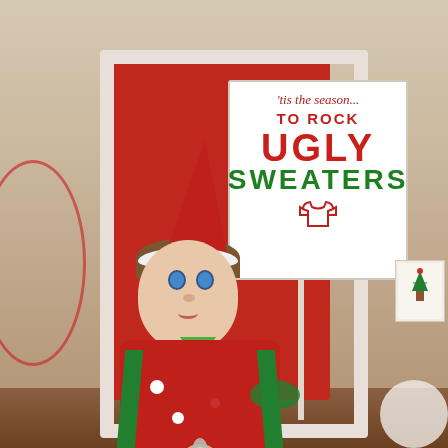[Figure (photo): Elf on the Shelf doll dressed in a red and green Christmas sweater outfit with white polka dots and a silver and gold gift bow, holding a white sign on a stick. The sign reads 'tis the season... TO ROCK UGLY SWEATERS' with a small sweater icon. The elf sits in front of a red door/frame decorated with a white frame, set on a wooden shelf. There is a circular red ornament decoration to the left and a Christmas card with a tree to the right.]